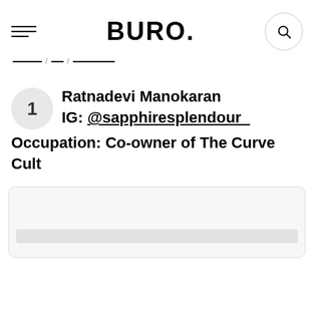BURO.
1  Ratnadevi Manokaran
IG: @sapphiresplendour_
Occupation: Co-owner of The Curve Cult
[Figure (photo): Partially visible image placeholder box at the bottom of the page]